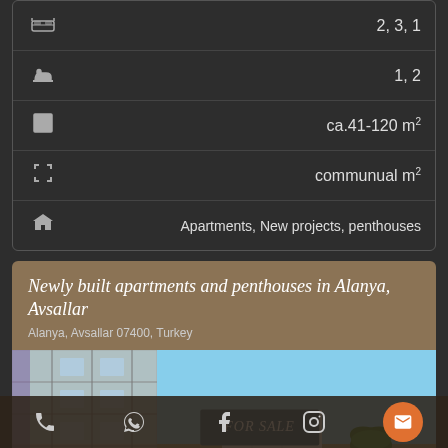| Icon | Value |
| --- | --- |
| bed | 2, 3, 1 |
| bath | 1, 2 |
| area | ca.41-120 m² |
| expand | communual m² |
| home | Apartments, New projects, penthouses |
Newly built apartments and penthouses in Alanya, Avsallar
Alanya, Avsallar 07400, Turkey
[Figure (photo): Photo of apartment building exterior with blue sky background, showing a FOR SALE badge overlay and an up-arrow navigation button. Bottom navigation bar with phone, WhatsApp, Facebook, Instagram, and email icons.]